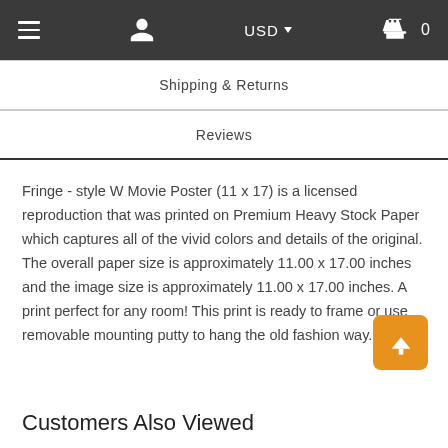≡  [user icon]  USD ▾  [cart icon] 0
Shipping & Returns
Reviews
Fringe - style W Movie Poster (11 x 17) is a licensed reproduction that was printed on Premium Heavy Stock Paper which captures all of the vivid colors and details of the original. The overall paper size is approximately 11.00 x 17.00 inches and the image size is approximately 11.00 x 17.00 inches. A print perfect for any room! This print is ready to frame or use removable mounting putty to hang the old fashion way.
Customers Also Viewed